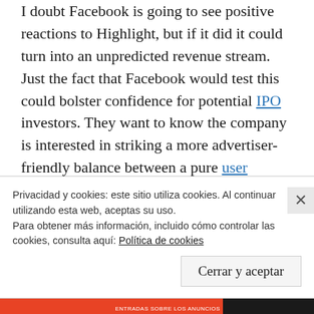I doubt Facebook is going to see positive reactions to Highlight, but if it did it could turn into an unpredicted revenue stream. Just the fact that Facebook would test this could bolster confidence for potential IPO investors. They want to know the company is interested in striking a more advertiser-friendly balance between a pure user experience and the goals of advertisers. That's especially important now, as yesterday Facebook had to warn investors that its ad business is in jeopardy as
Privacidad y cookies: este sitio utiliza cookies. Al continuar utilizando esta web, aceptas su uso.
Para obtener más información, incluido cómo controlar las cookies, consulta aquí: Política de cookies